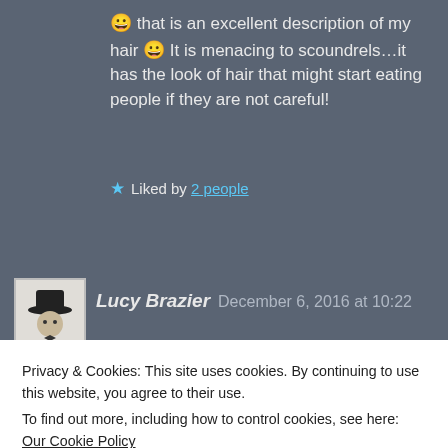😀 that is an excellent description of my hair 😀 It is menacing to scoundrels…it has the look of hair that might start eating people if they are not careful!
★ Liked by 2 people
Lucy Brazier   December 6, 2016 at 10:22
Privacy & Cookies: This site uses cookies. By continuing to use this website, you agree to their use.
To find out more, including how to control cookies, see here: Our Cookie Policy
Close and accept
Hurrun. I hope it does start eating people. The